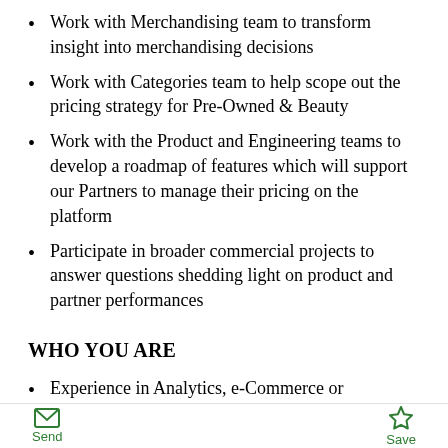Work with Merchandising team to transform insight into merchandising decisions
Work with Categories team to help scope out the pricing strategy for Pre-Owned & Beauty
Work with the Product and Engineering teams to develop a roadmap of features which will support our Partners to manage their pricing on the platform
Participate in broader commercial projects to answer questions shedding light on product and partner performances
WHO YOU ARE
Experience in Analytics, e-Commerce or Consulting
Send  Save